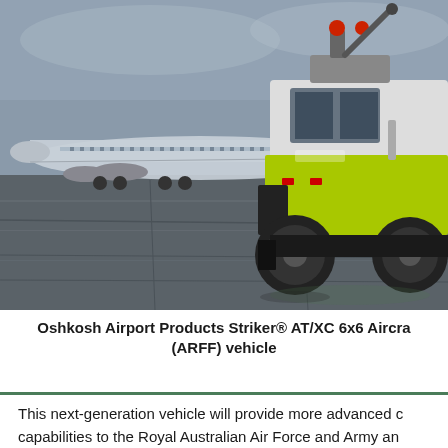[Figure (photo): An Oshkosh Airport Products Striker AT/XC 6x6 Aircraft Rescue and Fire Fighting (ARFF) vehicle in yellow-green livery parked on a wet airport tarmac, with a large commercial aircraft visible in the background on a grey overcast day.]
Oshkosh Airport Products Striker® AT/XC 6x6 Aircraft Rescue and Fire Fighting (ARFF) vehicle
This next-generation vehicle will provide more advanced capabilities to the Royal Australian Air Force and Army and of ARFF vehicles.